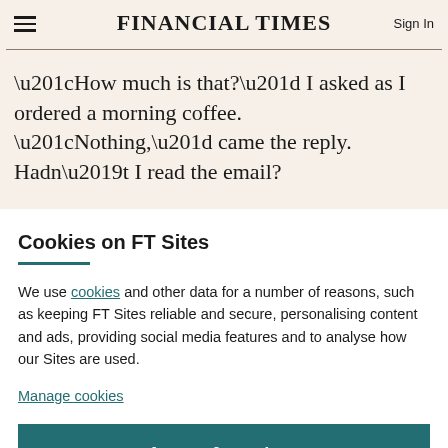FINANCIAL TIMES
“How much is that?” I asked as I ordered a morning coffee. “Nothing,” came the reply. Hadn’t I read the email?
Cookies on FT Sites
We use cookies and other data for a number of reasons, such as keeping FT Sites reliable and secure, personalising content and ads, providing social media features and to analyse how our Sites are used.
Manage cookies
Accept & continue